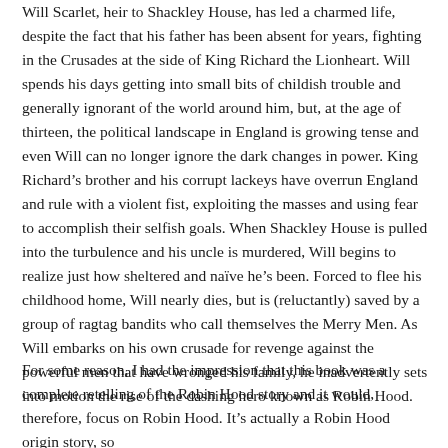Will Scarlet, heir to Shackley House, has led a charmed life, despite the fact that his father has been absent for years, fighting in the Crusades at the side of King Richard the Lionheart. Will spends his days getting into small bits of childish trouble and generally ignorant of the world around him, but, at the age of thirteen, the political landscape in England is growing tense and even Will can no longer ignore the dark changes in power. King Richard's brother and his corrupt lackeys have overrun England and rule with a violent fist, exploiting the masses and using fear to accomplish their selfish goals. When Shackley House is pulled into the turbulence and his uncle is murdered, Will begins to realize just how sheltered and naïve he's been. Forced to flee his childhood home, Will nearly dies, but is (reluctantly) saved by a group of ragtag bandits who call themselves the Merry Men. As Will embarks on his own crusade for revenge against the powerful men that have wronged his family, he inadvertently sets into motion the rise of the dashing hero known as Robin Hood.
For some reason, I had the impression that this book was a complete retelling of the Robin Hood story and it would, therefore, focus on Robin Hood. It's actually a Robin Hood origin story, so